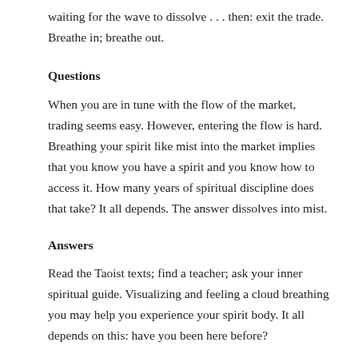waiting for the wave to dissolve . . . then: exit the trade. Breathe in; breathe out.
Questions
When you are in tune with the flow of the market, trading seems easy. However, entering the flow is hard. Breathing your spirit like mist into the market implies that you know you have a spirit and you know how to access it. How many years of spiritual discipline does that take? It all depends. The answer dissolves into mist.
Answers
Read the Taoist texts; find a teacher; ask your inner spiritual guide. Visualizing and feeling a cloud breathing you may help you experience your spirit body. It all depends on this: have you been here before?